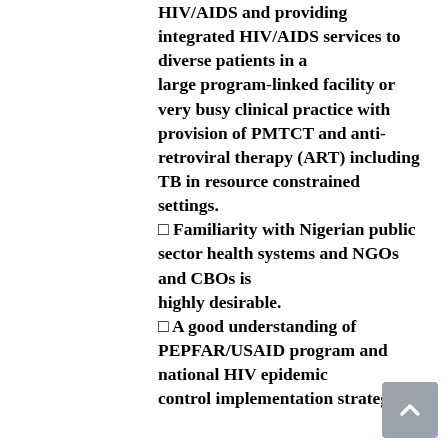HIV/AIDS and providing integrated HIV/AIDS services to diverse patients in a large program-linked facility or very busy clinical practice with provision of PMTCT and anti-retroviral therapy (ART) including TB in resource constrained settings.
□ Familiarity with Nigerian public sector health systems and NGOs and CBOs is highly desirable.
□ A good understanding of PEPFAR/USAID program and national HIV epidemic control implementation strategies